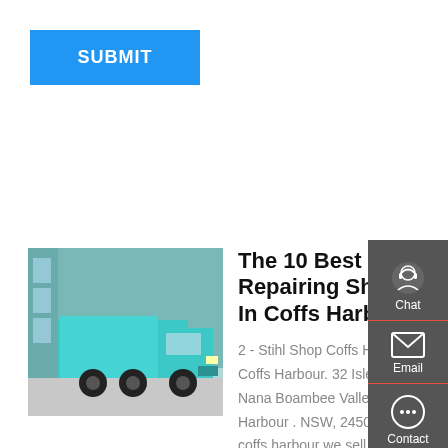[Figure (screenshot): Blue SUBMIT button]
[Figure (photo): A teal/blue dump truck parked outside a building]
The 10 Best Repairing Shops In Coffs Harbour
2 - Stihl Shop Coffs Harbour - Coffs Harbour. 32 Isles Dr, Nana Boambee Valley . Coffs Harbour . NSW, 2450 . Based in coffs harbour we sell and service outdoor power equipment